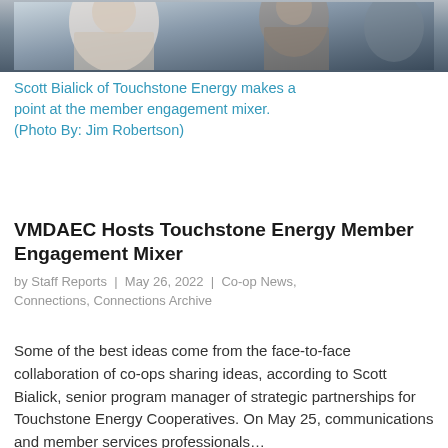[Figure (photo): Partial photo of Scott Bialick of Touchstone Energy at the member engagement mixer, cropped at the top of the page showing people seated/standing in a room.]
Scott Bialick of Touchstone Energy makes a point at the member engagement mixer. (Photo By: Jim Robertson)
VMDAEC Hosts Touchstone Energy Member Engagement Mixer
by Staff Reports  |  May 26, 2022  |  Co-op News, Connections, Connections Archive
Some of the best ideas come from the face-to-face collaboration of co-ops sharing ideas, according to Scott Bialick, senior program manager of strategic partnerships for Touchstone Energy Cooperatives. On May 25, communications and member services professionals…